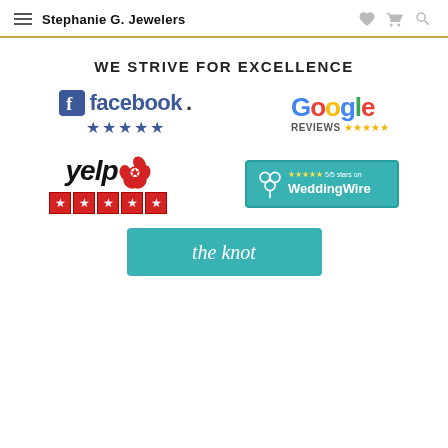Stephanie G. Jewelers
WE STRIVE FOR EXCELLENCE
[Figure (logo): Facebook logo with 5 blue stars rating]
[Figure (logo): Google Reviews logo with 5 yellow stars]
[Figure (logo): Yelp logo with 5 red star boxes]
[Figure (logo): WeddingWire teal badge with 5 stars and 5/5 stars text]
[Figure (logo): The Knot teal logo partially visible at bottom]